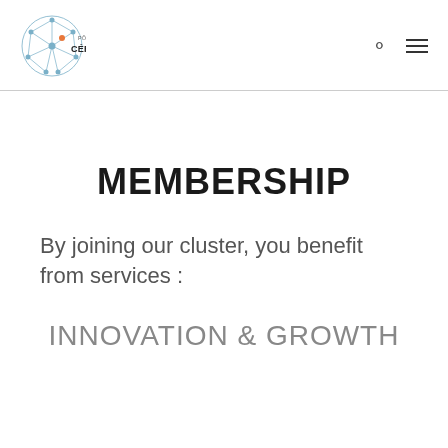PÔLE EUROPÉEN DE LA CÉRAMIQUE
MEMBERSHIP
By joining our cluster, you benefit from services :
INNOVATION & GROWTH